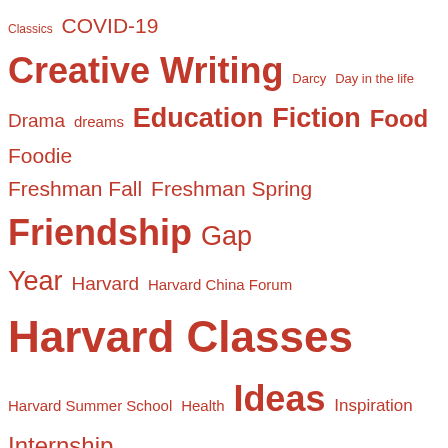[Figure (infographic): Tag cloud with topic/category names in varying sizes, all in red/crimson color on white background. Topics include: Classics, COVID-19, Creative Writing, Darcy, Day in the life, Drama, dreams, Education, Fiction, Food, Foodie, Freshman Fall, Freshman Spring, Friendship, Gap Year, Harvard, Harvard China Forum, Harvard Classes, Harvard Summer School, Health, Ideas, Inspiration, Internship, Jane Austen, Japan, Journalism, Junior Fall, Junior Spring, Kdrama, Kyoto, Late night thoughts, Life Choice, Life Update, Lists, Literary festival, Literature, Love, Middle East, Movies, Music, Nature, New York, Personal Growth, Postcolonialism, Reading, Reflections, Religion, Review, Road trip, Sci Fi, Screenwriting, Senior Fall, Senior Spring, Shopping, Week]